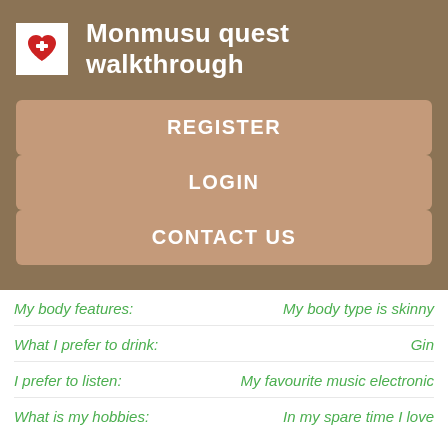Monmusu quest walkthrough
REGISTER
LOGIN
CONTACT US
My body features: My body type is skinny
What I prefer to drink: Gin
I prefer to listen: My favourite music electronic
What is my hobbies: In my spare time I love